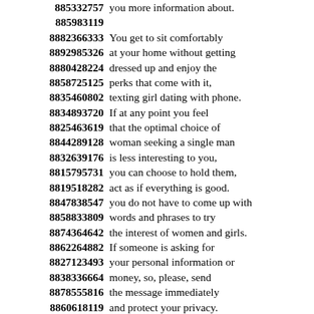885332757 you more information about. 885983119 8882366333 You get to sit comfortably 8892985326 at your home without getting 8880428224 dressed up and enjoy the 8858725125 perks that come with it, 8835460802 texting girl dating with phone. 8834893720 If at any point you feel 8825463619 that the optimal choice of 8844289128 woman seeking a single man 8832639176 is less interesting to you, 8815795731 you can choose to hold them, 8819518282 act as if everything is good. 8847838547 you do not have to come up with 8858833809 words and phrases to try 8874364642 the interest of women and girls. 8862264882 If someone is asking for 8827123493 your personal information or 8838336664 money, so, please, send 8878555816 the message immediately 8860618119 and protect your privacy. 8815473864 Our agency is the only 8831445812 best platform for you to 8818111653 interact with people seeking 8890438885 near you no matter where 8883336715 who are outside of your